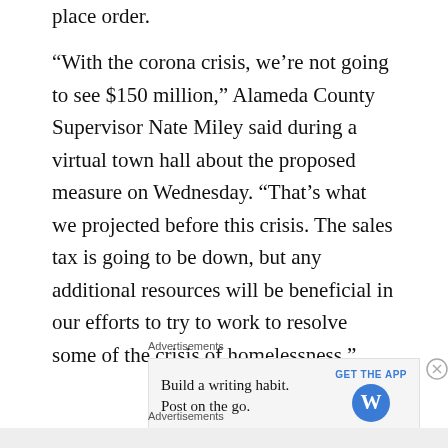place order.
“With the corona crisis, we’re not going to see $150 million,” Alameda County Supervisor Nate Miley said during a virtual town hall about the proposed measure on Wednesday. “That’s what we projected before this crisis. The sales tax is going to be down, but any additional resources will be beneficial in our efforts to try to work to resolve some of the crisis of homelessness.”
[Figure (other): Advertisement banner: 'Build a writing habit. Post on the go.' with GET THE APP button and WordPress logo]
Advertisements
Advertisements